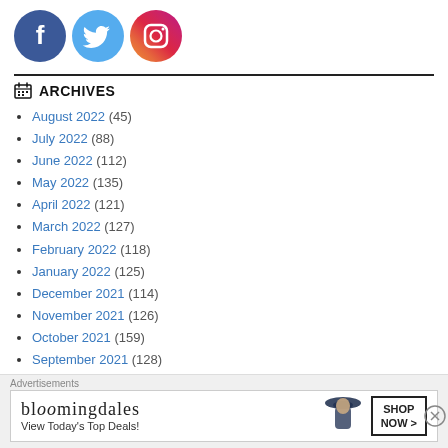[Figure (illustration): Three social media icons: Facebook (blue circle with white F), Twitter (light blue circle with white bird), Instagram (orange-red circle with white camera outline)]
ARCHIVES
August 2022 (45)
July 2022 (88)
June 2022 (112)
May 2022 (135)
April 2022 (121)
March 2022 (127)
February 2022 (118)
January 2022 (125)
December 2021 (114)
November 2021 (126)
October 2021 (159)
September 2021 (128)
Advertisements
[Figure (other): Bloomingdales advertisement: 'bloomingdales / View Today's Top Deals!' with woman in hat image and 'SHOP NOW >' button]